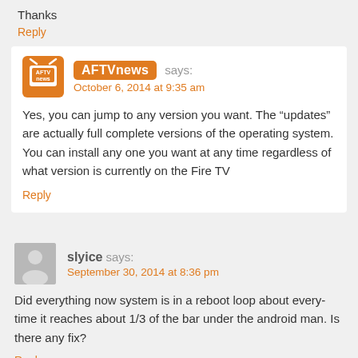Thanks
Reply
AFTVnews says: October 6, 2014 at 9:35 am
Yes, you can jump to any version you want. The “updates” are actually full complete versions of the operating system. You can install any one you want at any time regardless of what version is currently on the Fire TV
Reply
slyice says: September 30, 2014 at 8:36 pm
Did everything now system is in a reboot loop about every-time it reaches about 1/3 of the bar under the android man. Is there any fix?
Reply